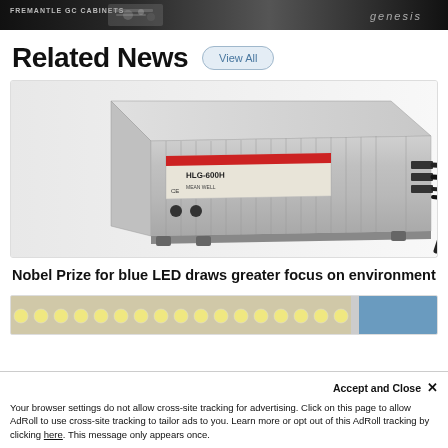[Figure (photo): Advertisement banner with dark background, product imagery, and 'genesis' branding]
Related News
View All
[Figure (photo): LED driver / power supply unit — silver aluminum enclosure with black wiring connectors, Mean Well brand style]
Nobel Prize for blue LED draws greater focus on environment
[Figure (photo): Partial view of LED strip/module product image]
Accept and Close ✕
Your browser settings do not allow cross-site tracking for advertising. Click on this page to allow AdRoll to use cross-site tracking to tailor ads to you. Learn more or opt out of this AdRoll tracking by clicking here. This message only appears once.